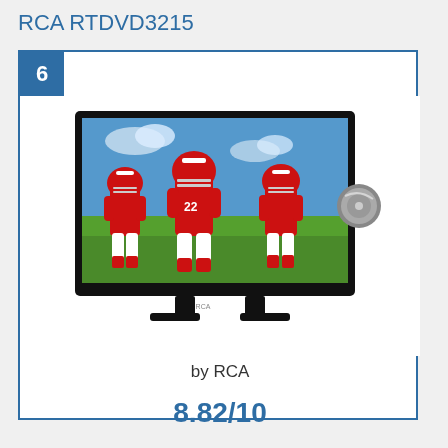RCA RTDVD3215
[Figure (photo): Product card showing RCA RTDVD3215 TV with DVD player. The TV screen displays three football players in red uniforms on a grass field. A DVD disc is visible on the right side of the TV. The card has a blue border and a blue rank badge showing number 6.]
by RCA
8.82/10